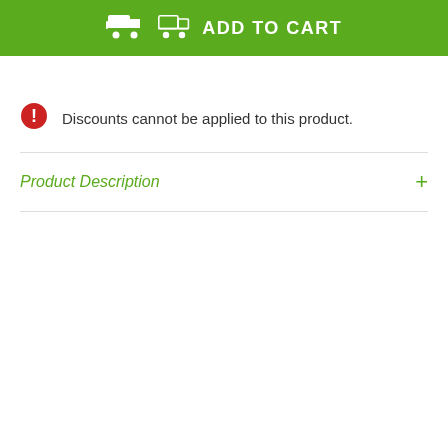ADD TO CART
Discounts cannot be applied to this product.
Product Description